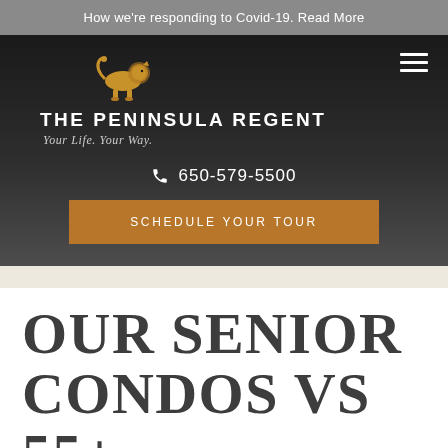How we're responding to Covid-19. Read More
[Figure (logo): The Peninsula Regent logo with golden lion illustration above text 'THE PENINSULA REGENT' and tagline 'Your Life. Your Way.']
650-579-5500
SCHEDULE YOUR TOUR
OUR SENIOR CONDOS VS 55+ COMMUNITIES